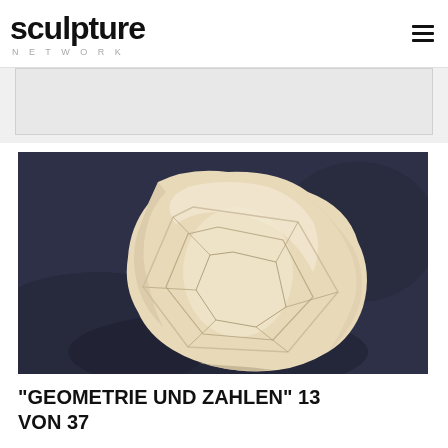sculpture NETWORK
[Figure (photo): A pale cream/beige stone or clay sculpture with geometric faceted surface patterns carved into it, shot against a dark blue-grey background. The sculpture has an irregular rounded form with angular incised lines creating a geometric pattern.]
"GEOMETRIE UND ZAHLEN" 13 VON 37